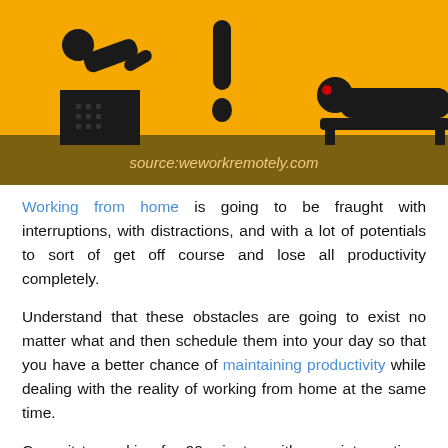[Figure (illustration): Yellow and brown illustrated banner showing stick figures: one at a computer desk, one with an exclamation mark, one lying down. Text reads 'source:weworkremotely.com']
Working from home is going to be fraught with interruptions, with distractions, and with a lot of potentials to sort of get off course and lose all productivity completely.
Understand that these obstacles are going to exist no matter what and then schedule them into your day so that you have a better chance of maintaining productivity while dealing with the reality of working from home at the same time.
Commit to working for 90 minutes with zero interruptions (or 45 minutes, or 60 minutes, or whatever works best for you) before taking a 15-minute break to do anything and everything but work. Then get right back into the swing of things, rinsing and repeating throughout your workday to keep your productivity at an all-time